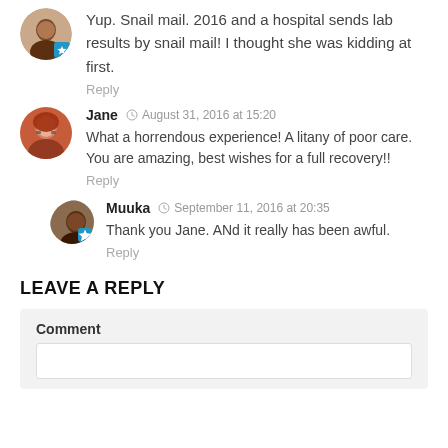Yup. Snail mail. 2016 and a hospital sends lab results by snail mail! I thought she was kidding at first.
Reply
Jane  August 31, 2016 at 15:20
What a horrendous experience! A litany of poor care. You are amazing, best wishes for a full recovery!!
Reply
Muuka  September 11, 2016 at 20:35
Thank you Jane. ANd it really has been awful.
Reply
LEAVE A REPLY
Comment